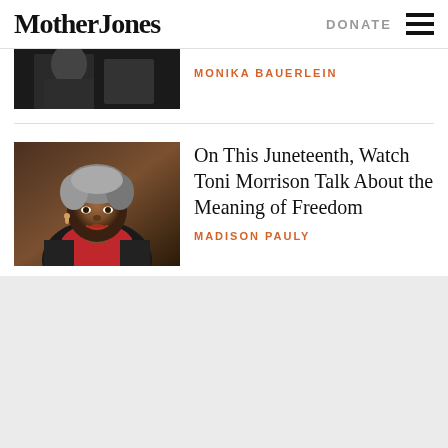Mother Jones
DONATE
MONIKA BAUERLEIN
On This Juneteenth, Watch Toni Morrison Talk About the Meaning of Freedom
MADISON PAULY